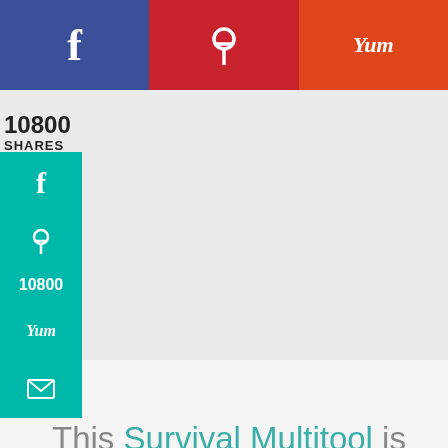[Figure (screenshot): Top social share bar with three buttons: Facebook (blue), Pinterest (red), Yummly (orange-red)]
10800
SHARES
[Figure (screenshot): Side vertical social share bar in teal with Facebook, Pinterest (10800), Yummly, and Email icons]
This Survival Multitool is actually going in my husbands stocking this year. I can't believe I didn't find it sooner. Perfect for their car in case they ever need some tools while not at
[Figure (screenshot): Cookie consent banner: 'By continuing to use the site, you agree to the use of cookies. more information ACCEPT']